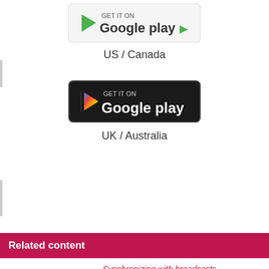[Figure (logo): Google Play badge (US/Canada version, light background)]
US / Canada
[Figure (logo): Google Play badge (UK/Australia version, dark background)]
UK / Australia
Related content
[Figure (illustration): Illustrated cat character in purple with shopping bag]
Synchronizing with broadcasts
This article draws inspiration from the popular Pokémon Go app to recreate a sprite hunting game in Scratch. The project explores synchronization and randomness as the player explores various backdrops in search of sprites.
more »
[Figure (illustration): Illustrated cat character in teal/black with antenna]
Creating an animation viewer
We show how to use the Scratch slideshow feature to create animations.